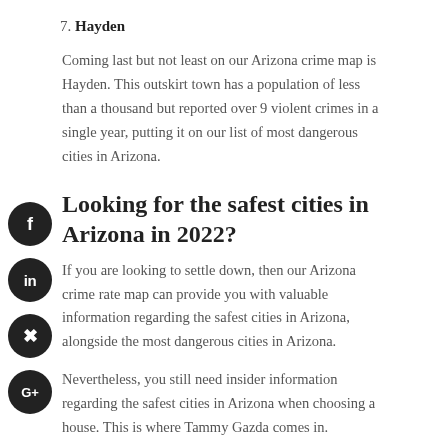7. Hayden
Coming last but not least on our Arizona crime map is Hayden. This outskirt town has a population of less than a thousand but reported over 9 violent crimes in a single year, putting it on our list of most dangerous cities in Arizona.
Looking for the safest cities in Arizona in 2022?
If you are looking to settle down, then our Arizona crime rate map can provide you with valuable information regarding the safest cities in Arizona, alongside the most dangerous cities in Arizona.
Nevertheless, you still need insider information regarding the safest cities in Arizona when choosing a house. This is where Tammy Gazda comes in.